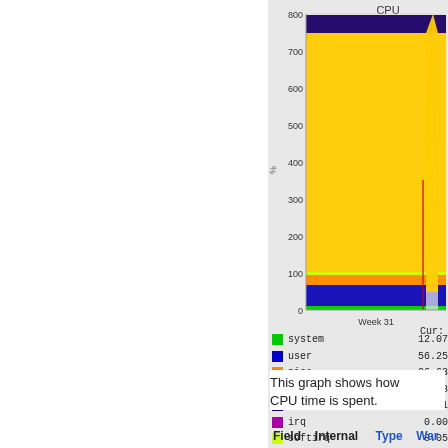[Figure (area-chart): Stacked area chart showing CPU time breakdown (system, user, nice, idle, iowait, irq, softirq, steal, guest) over time around Week 31. Y-axis ranges 0-800%. Chart dominated by large yellow (idle) area near 750%, with thin bands of other colors near bottom.]
Cur: system 12.07, user 56.25, nice 26.63, idle 647.68, iowait 49.71, irq 0.00, softirq 8.05, steal 0.00, guest 0.00
This graph shows how CPU time is spent.
| Field | Internal | Type | War... |
| --- | --- | --- | --- |